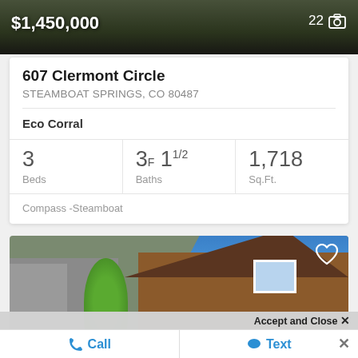[Figure (photo): Exterior photo of property with dark overlay showing price $1,450,000 and photo count 22]
607 Clermont Circle
STEAMBOAT SPRINGS, CO 80487
Eco Corral
3 Beds   3F 11/2 Baths   1,718 Sq.Ft.
Compass -Steamboat
[Figure (photo): Exterior photo of a brown wood-sided house with white trim windows and blue sky, with a heart/favorite icon in the top right corner]
Accept and Close ✕
Call   Text